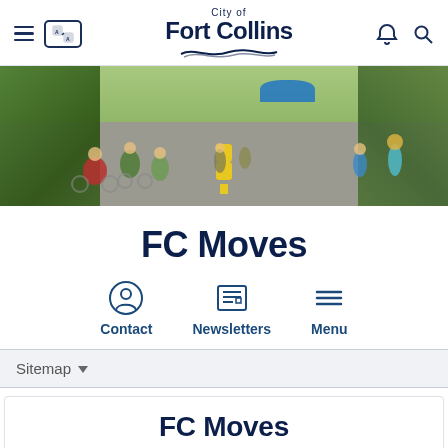City of Fort Collins
[Figure (photo): People biking and walking on a street during a community event, with trees, tents, and parked cars in the background.]
FC Moves
Contact | Newsletters | Menu
Sitemap
FC Moves